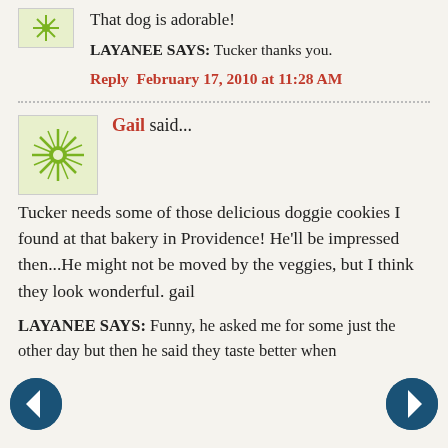[Figure (illustration): Small avatar thumbnail showing a green starburst/snowflake pattern on white background, cropped at top]
That dog is adorable!
LAYANEE SAYS: Tucker thanks you.
Reply  February 17, 2010 at 11:28 AM
[Figure (illustration): Square avatar thumbnail showing a green starburst/sunburst pattern on white background with a border]
Gail said...
Tucker needs some of those delicious doggie cookies I found at that bakery in Providence! He'll be impressed then...He might not be moved by the veggies, but I think they look wonderful. gail
LAYANEE SAYS: Funny, he asked me for some just the other day but then he said they taste better when